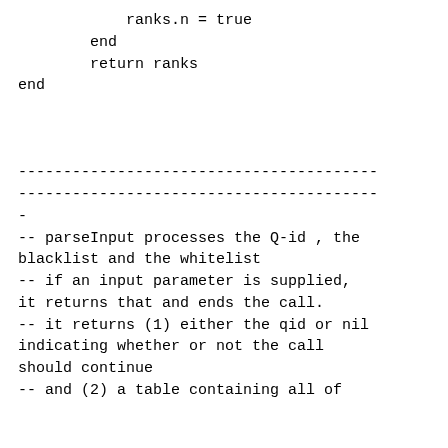ranks.n = true
        end
        return ranks
end



----------------------------------------
----------------------------------------
-
-- parseInput processes the Q-id , the
blacklist and the whitelist
-- if an input parameter is supplied,
it returns that and ends the call.
-- it returns (1) either the qid or nil
indicating whether or not the call
should continue
-- and (2) a table containing all of